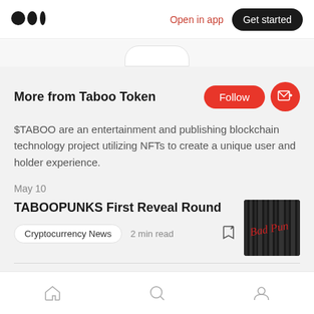Medium logo | Open in app | Get started
More from Taboo Token
$TABOO are an entertainment and publishing blockchain technology project utilizing NFTs to create a unique user and holder experience.
May 10
TABOOPUNKS First Reveal Round
Cryptocurrency News  2 min read
Home | Search | Profile